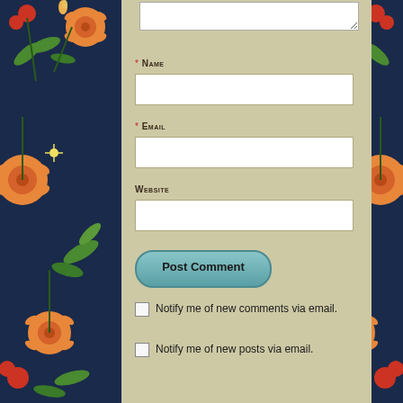[Figure (illustration): Dark navy floral background with orange flowers, red berries, and green leaves on both sides of the page]
* Name
* Email
Website
Post Comment
Notify me of new comments via email.
Notify me of new posts via email.